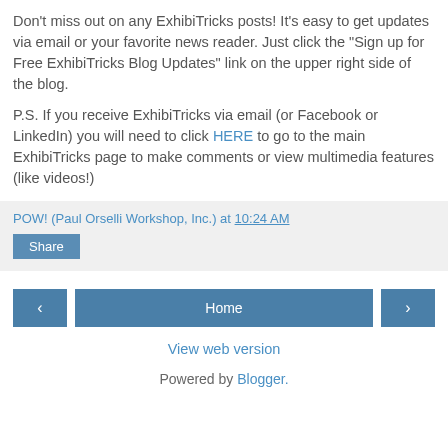Don't miss out on any ExhibiTricks posts! It's easy to get updates via email or your favorite news reader. Just click the "Sign up for Free ExhibiTricks Blog Updates" link on the upper right side of the blog.
P.S. If you receive ExhibiTricks via email (or Facebook or LinkedIn) you will need to click HERE to go to the main ExhibiTricks page to make comments or view multimedia features (like videos!)
POW! (Paul Orselli Workshop, Inc.) at 10:24 AM
Share
Home
View web version
Powered by Blogger.